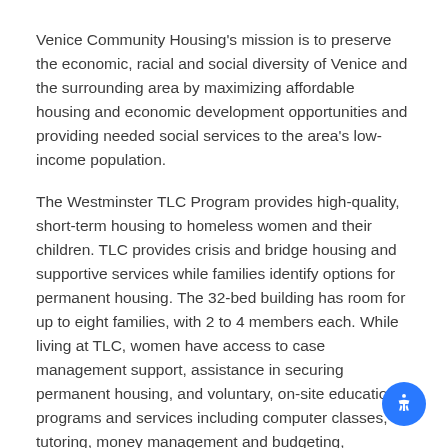Venice Community Housing's mission is to preserve the economic, racial and social diversity of Venice and the surrounding area by maximizing affordable housing and economic development opportunities and providing needed social services to the area's low-income population.
The Westminster TLC Program provides high-quality, short-term housing to homeless women and their children. TLC provides crisis and bridge housing and supportive services while families identify options for permanent housing. The 32-bed building has room for up to eight families, with 2 to 4 members each. While living at TLC, women have access to case management support, assistance in securing permanent housing, and voluntary, on-site educational programs and services including computer classes, tutoring, money management and budgeting, internships, job readiness assistance, parenting classes, and others.
[Figure (other): Blue circular accessibility icon button in the bottom-right corner]